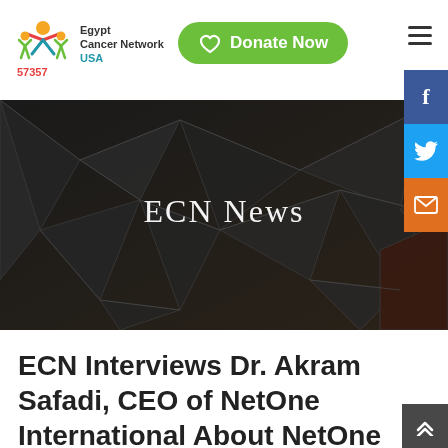Egypt Cancer Network 57357 USA — Donate Now
[Figure (screenshot): ECN News hero banner with dark geometric polygon background and white text 'ECN News']
ECN Interviews Dr. Akram Safadi, CEO of NetOne International About NetOne